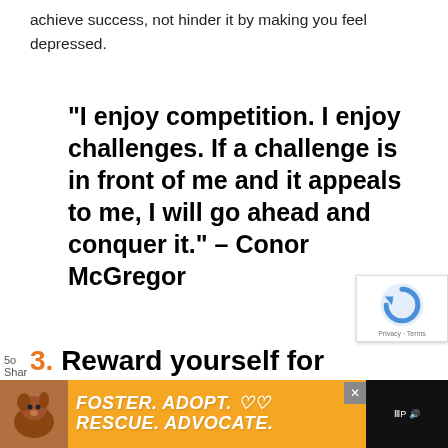achieve success, not hinder it by making you feel depressed.
“I enjoy competition. I enjoy challenges. If a challenge is in front of me and it appeals to me, I will go ahead and conquer it.” – Conor McGregor
3. Reward yourself for doing a good job
[Figure (other): reCAPTCHA badge with circular arrow logo and Privacy - Terms text]
[Figure (other): Advertisement banner: orange background with dog image, text FOSTER. ADOPT. RESCUE. ADVOCATE. with heart icons and close button]